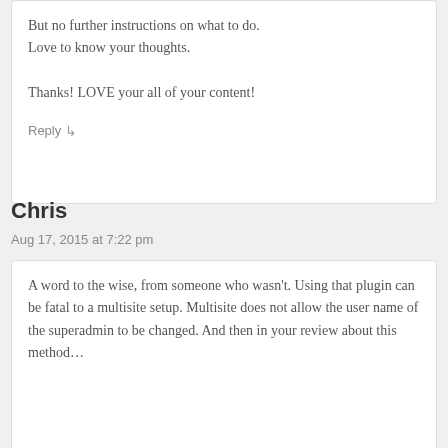But no further instructions on what to do. Love to know your thoughts.

Thanks! LOVE your all of your content!
Reply ↳
Chris
Aug 17, 2015 at 7:22 pm
A word to the wise, from someone who wasn't. Using that plugin can be fatal to a multisite setup. Multisite does not allow the user name of the superadmin to be changed. And then in your review about this method